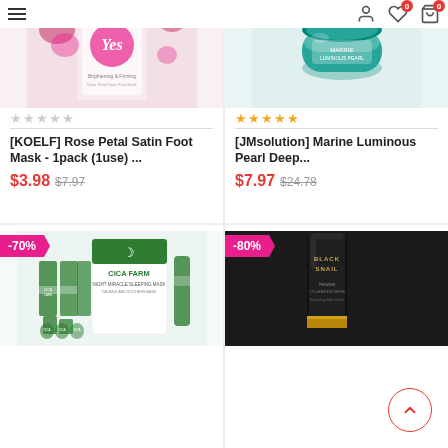[Figure (screenshot): E-commerce product listing page showing 4 Korean beauty products in a 2x2 grid with pricing and discount badges]
[KOELF] Rose Petal Satin Foot Mask - 1pack (1use) ...
$3.98  $7.97
[JMsolution] Marine Luminous Pearl Deep...
$7.97  $24.78
-70%
-80%